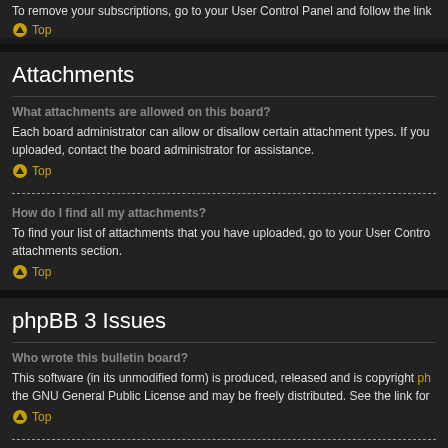To remove your subscriptions, go to your User Control Panel and follow the link
Top
Attachments
What attachments are allowed on this board?
Each board administrator can allow or disallow certain attachment types. If you uploaded, contact the board administrator for assistance.
Top
How do I find all my attachments?
To find your list of attachments that you have uploaded, go to your User Control attachments section.
Top
phpBB 3 Issues
Who wrote this bulletin board?
This software (in its unmodified form) is produced, released and is copyright phpBB the GNU General Public License and may be freely distributed. See the link for
Top
Why isn't X feature available?
This software was written by and licensed through phpBB Group. If you believe